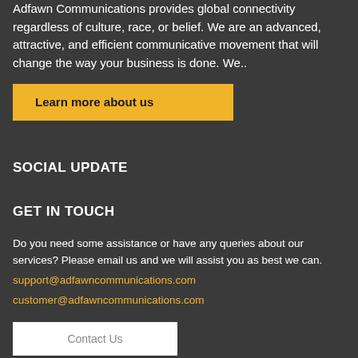Adfawn Communications provides global connectivity regardless of culture, race, or belief. We are an advanced, attractive, and efficient communicative movement that will change the way your business is done. We..
Learn more about us
SOCIAL UPDATE
GET IN TOUCH
Do you need some assistance or have any queries about our services? Please email us and we will assist you as best we can.
support@adfawncommunications.com
customer@adfawncommunications.com
Contact Us